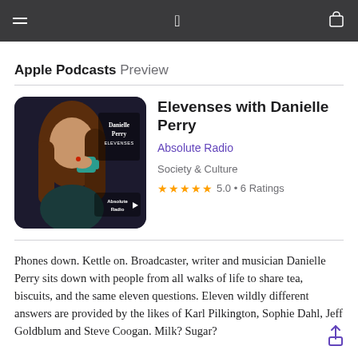Apple Podcasts Preview
[Figure (photo): Podcast cover art showing a woman (Danielle Perry) holding a cup, with text overlay reading 'Danielle Perry ELEVENSES' and 'Absolute Radio' logo with arrow]
Elevenses with Danielle Perry
Absolute Radio
Society & Culture
★★★★★ 5.0 • 6 Ratings
Phones down. Kettle on. Broadcaster, writer and musician Danielle Perry sits down with people from all walks of life to share tea, biscuits, and the same eleven questions. Eleven wildly different answers are provided by the likes of Karl Pilkington, Sophie Dahl, Jeff Goldblum and Steve Coogan. Milk? Sugar?